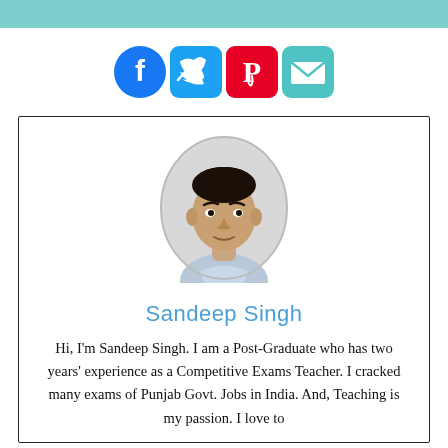[Figure (illustration): Teal/cyan horizontal bar at top of page]
[Figure (illustration): Social media icons: Facebook (blue circle), Twitter (teal rounded square), Pinterest (red rounded square), Email (teal rounded square)]
[Figure (photo): Circular profile photo of a young man (Sandeep Singh) with dark hair, wearing a light colored top, set in an oval frame]
Sandeep Singh
Hi, I'm Sandeep Singh. I am a Post-Graduate who has two years' experience as a Competitive Exams Teacher. I cracked many exams of Punjab Govt. Jobs in India. And, Teaching is my passion. I love to